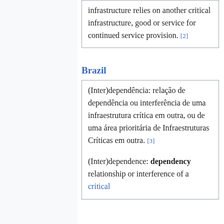infrastructure relies on another critical infrastructure, good or service for continued service provision. [2]
Brazil
(Inter)dependência: relação de dependência ou interferência de uma infraestrutura crítica em outra, ou de uma área prioritária de Infraestruturas Críticas em outra. [3]

(Inter)dependence: dependency relationship or interference of a critical